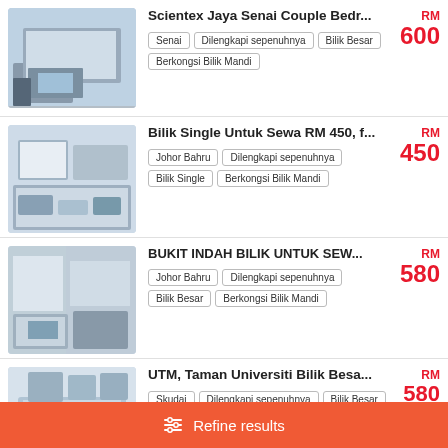Scientex Jaya Senai Couple Bedr...
Tags: Senai, Dilengkapi sepenuhnya, Bilik Besar, Berkongsi Bilik Mandi | Price: RM 600
Bilik Single Untuk Sewa RM 450, f...
Tags: Johor Bahru, Dilengkapi sepenuhnya, Bilik Single, Berkongsi Bilik Mandi | Price: RM 450
BUKIT INDAH BILIK UNTUK SEW...
Tags: Johor Bahru, Dilengkapi sepenuhnya, Bilik Besar, Berkongsi Bilik Mandi | Price: RM 580
UTM, Taman Universiti Bilik Besa...
Tags: Skudai, Dilengkapi sepenuhnya, Bilik Besar | Price: RM 580
Refine results